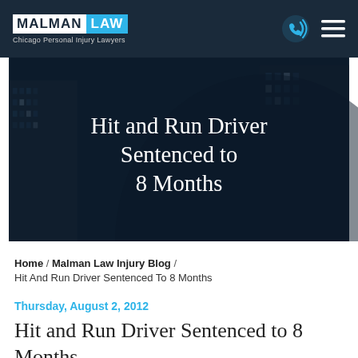MALMAN LAW — Chicago Personal Injury Lawyers
[Figure (photo): Dark blue hero image with city building silhouettes in background, overlaid with large white serif text reading 'Hit and Run Driver Sentenced to 8 Months']
Hit and Run Driver Sentenced to 8 Months
Home / Malman Law Injury Blog / Hit And Run Driver Sentenced To 8 Months
Thursday, August 2, 2012
Hit and Run Driver Sentenced to 8 Months